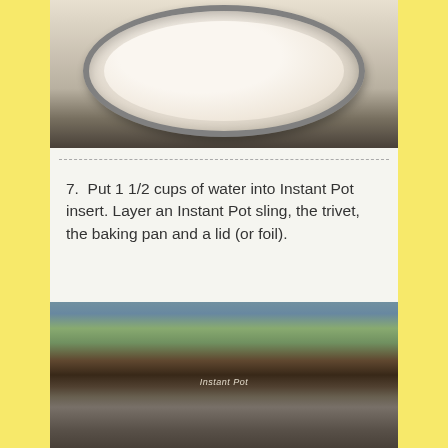[Figure (photo): A round baking pan viewed from above containing a white creamy mixture, with a silver/gray rim, sitting on a dark surface.]
7. Put 1 1/2 cups of water into Instant Pot insert. Layer an Instant Pot sling, the trivet, the baking pan and a lid (or foil).
[Figure (photo): An Instant Pot electric pressure cooker on a kitchen table in front of a window. Trees and sky visible outside. A glass lid with a handle is visible in the foreground.]